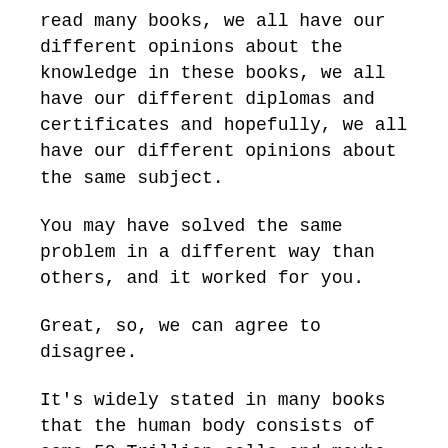read many books, we all have our different opinions about the knowledge in these books, we all have our different diplomas and certificates and hopefully, we all have our different opinions about the same subject.
You may have solved the same problem in a different way than others, and it worked for you.
Great, so, we can agree to disagree.
It's widely stated in many books that the human body consists of some 50 Trillion cells and maybe more after you've finished breakfast. The atoms that your breakfast food consisted of are absorbed by your body's system and they become YOUR atoms. The cross in the next